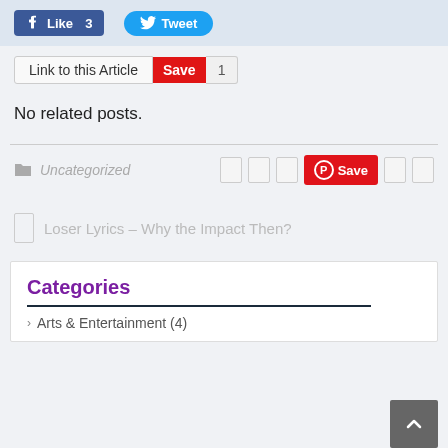[Figure (screenshot): Facebook Like button with count 3 and Twitter Tweet button]
[Figure (screenshot): Link to this Article input box with red Save button and count 1]
No related posts.
[Figure (screenshot): Post meta row: folder icon, Uncategorized label, social share icons including Pinterest Save button]
Loser Lyrics – Why the Impact Then?
Categories
Arts & Entertainment (4)